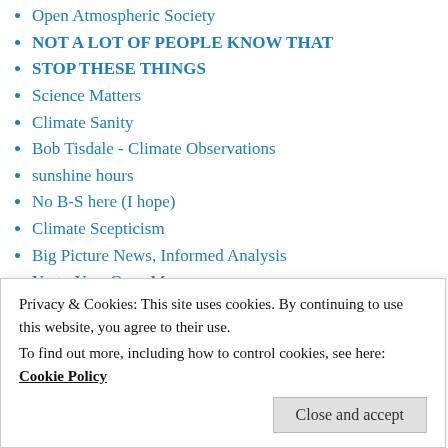Open Atmospheric Society
NOT A LOT OF PEOPLE KNOW THAT
STOP THESE THINGS
Science Matters
Climate Sanity
Bob Tisdale - Climate Observations
sunshine hours
No B-S here (I hope)
Climate Scepticism
Big Picture News, Informed Analysis
YesterYear Once More
Fabius Maximus website
Climatism
Quixotes Last Stand
Watts Up With That?
Climate of Sophistry
Privacy & Cookies: This site uses cookies. By continuing to use this website, you agree to their use.
To find out more, including how to control cookies, see here: Cookie Policy
Close and accept